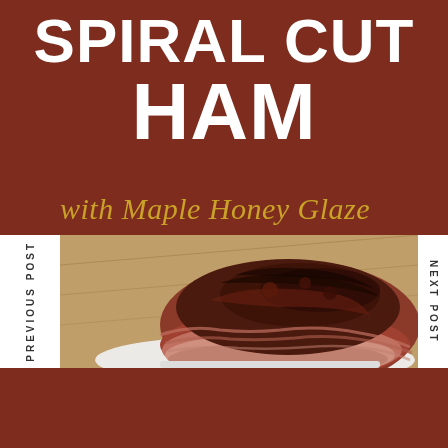SPIRAL CUT HAM
with Maple Honey Glaze
PREVIOUS POST
NEXT POST
[Figure (photo): A spiral cut ham with dark maple honey glaze on a white plate, with wooden cutting board in background]